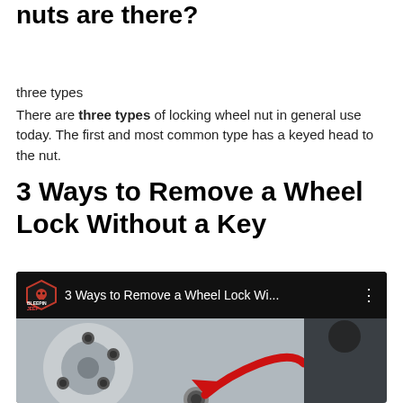nuts are there?
three types
There are three types of locking wheel nut in general use today. The first and most common type has a keyed head to the nut.
3 Ways to Remove a Wheel Lock Without a Key
[Figure (screenshot): YouTube video thumbnail showing '3 Ways to Remove a Wheel Lock Wi...' with BleepinJeep channel logo on a black header bar, and below it a close-up photo of a wheel with a locking lug nut and a red arrow pointing to it.]